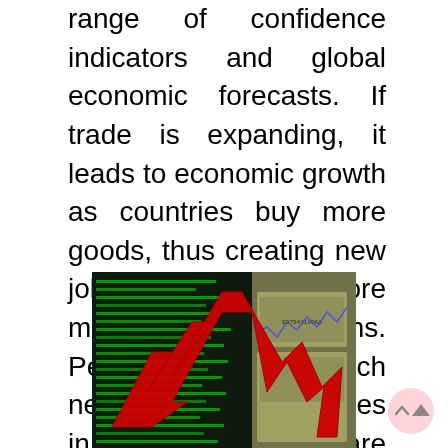range of confidence indicators and global economic forecasts. If trade is expanding, it leads to economic growth as countries buy more goods, thus creating new jobs and providing more money for corporations. Personally, I think such negative economic titles in the newspapers are irresponsible and add to the consumer confidence issues, which appears to be 1/3 of the problem in the first place.
[Figure (photo): A financial image showing a red zigzag arrow pointing downward overlaid on a green stock market ticker screen with US dollar bills in the background, symbolizing economic decline.]